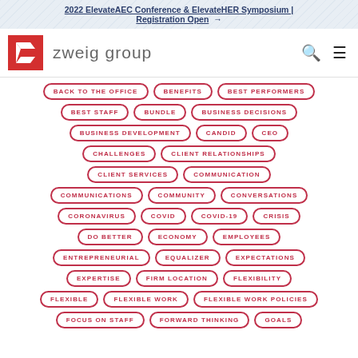2022 ElevateAEC Conference & ElevateHER Symposium | Registration Open →
[Figure (logo): Zweig Group logo with red square containing white Z-shaped arrow and text 'zweig group']
BACK TO THE OFFICE
BENEFITS
BEST PERFORMERS
BEST STAFF
BUNDLE
BUSINESS DECISIONS
BUSINESS DEVELOPMENT
CANDID
CEO
CHALLENGES
CLIENT RELATIONSHIPS
CLIENT SERVICES
COMMUNICATION
COMMUNICATIONS
COMMUNITY
CONVERSATIONS
CORONAVIRUS
COVID
COVID-19
CRISIS
DO BETTER
ECONOMY
EMPLOYEES
ENTREPRENEURIAL
EQUALIZER
EXPECTATIONS
EXPERTISE
FIRM LOCATION
FLEXIBILITY
FLEXIBLE
FLEXIBLE WORK
FLEXIBLE WORK POLICIES
FOCUS ON STAFF
FORWARD THINKING
GOALS